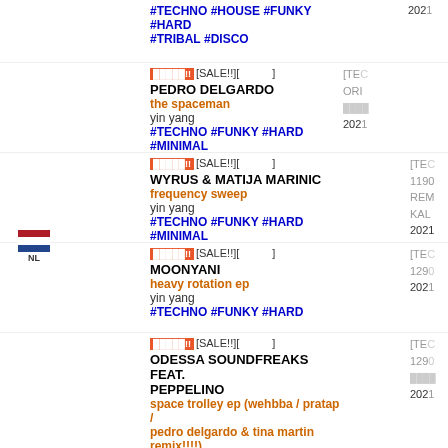#TECHNO #HOUSE #FUNKY #HARD #TRIBAL #DISCO  2021
[SALE!!][...] PEDRO DELGARDO - the spaceman - yin yang - #TECHNO #FUNKY #HARD #MINIMAL  [TEC  ORI  ...  2021
[SALE!!][...] WYRUS & MATIJA MARINIC - frequency sweep - yin yang - #TECHNO #FUNKY #HARD #MINIMAL  [TEC  1190  REM  KAL  2021
[SALE!!][...] MOONYANI - heavy rotation ep - yin yang - #TECHNO #FUNKY #HARD  [TEC  1290  2021
[SALE!!][...] ODESSA SOUNDFREAKS FEAT. PEPPELINO - space trolley ep (wehbba / pratap / pedro delgardo & tina martin remix!!!!) - yin yang - #TECHNO #FUNKY #HARD  [TE  1290  ...  2021
[SALE!!][...] PEDRO DELGARDO - england - yin yang - #TECHNO #FUNKY #HARD #ELECTRO  [TEC  1250  2021